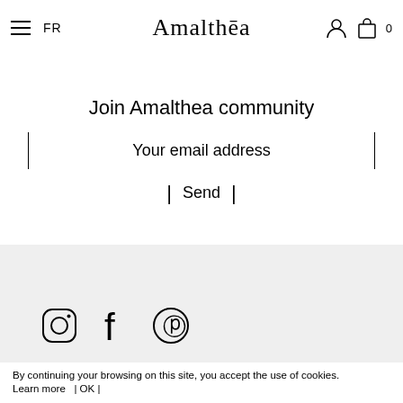FR  Amalthēa  0
Join Amalthea community
Your email address
Send
[Figure (illustration): Social media icons: Instagram, Facebook, Pinterest]
Our eshop
By continuing your browsing on this site, you accept the use of cookies.
Learn more  | OK |